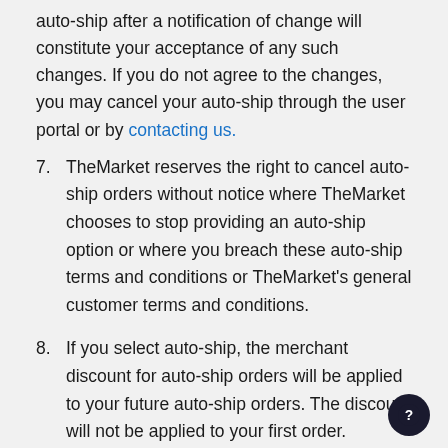auto-ship after a notification of change will constitute your acceptance of any such changes. If you do not agree to the changes, you may cancel your auto-ship through the user portal or by contacting us.
7. TheMarket reserves the right to cancel auto-ship orders without notice where TheMarket chooses to stop providing an auto-ship option or where you breach these auto-ship terms and conditions or TheMarket's general customer terms and conditions.
8. If you select auto-ship, the merchant discount for auto-ship orders will be applied to your future auto-ship orders. The discount will not be applied to your first order. Merchant auto-ship discounts are subject to change. Auto-ship discounts are applied against the current retail price at the date of the